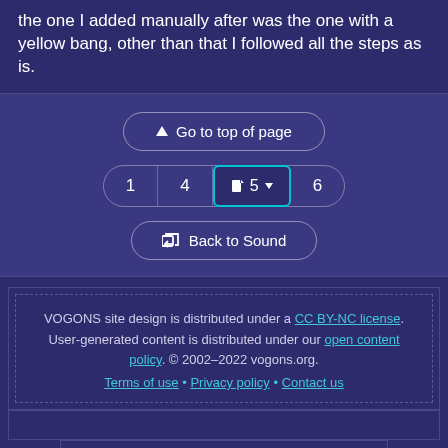the one I added manually after was the one with a yellow bang, other than that I followed all the steps as is.
[Figure (screenshot): Navigation UI: Go to top of page button, pagination bar with pages 1, 4, 5 (active, highlighted in cyan), 6, and Back to Sound button. All on dark purple background.]
VOGONS site design is distributed under a CC BY-NC license. User-generated content is distributed under our open content policy. © 2002–2022 vogons.org. Terms of use • Privacy policy • Contact us